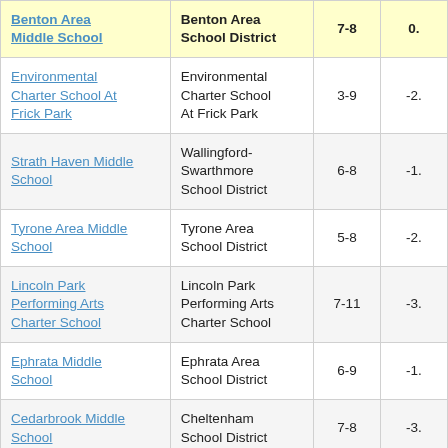| School | District | Grades | Value |
| --- | --- | --- | --- |
| Benton Area Middle School | Benton Area School District | 7-8 | 0. |
| Environmental Charter School At Frick Park | Environmental Charter School At Frick Park | 3-9 | -2. |
| Strath Haven Middle School | Wallingford-Swarthmore School District | 6-8 | -1. |
| Tyrone Area Middle School | Tyrone Area School District | 5-8 | -2. |
| Lincoln Park Performing Arts Charter School | Lincoln Park Performing Arts Charter School | 7-11 | -3. |
| Ephrata Middle School | Ephrata Area School District | 6-9 | -1. |
| Cedarbrook Middle School | Cheltenham School District | 7-8 | -3. |
| J Lambert | East Stroudsburg |  |  |